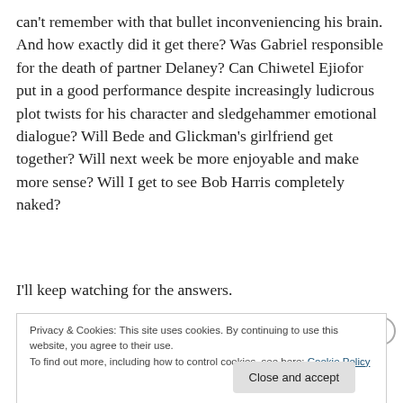can't remember with that bullet inconveniencing his brain. And how exactly did it get there? Was Gabriel responsible for the death of partner Delaney? Can Chiwetel Ejiofor put in a good performance despite increasingly ludicrous plot twists for his character and sledgehammer emotional dialogue? Will Bede and Glickman's girlfriend get together? Will next week be more enjoyable and make more sense? Will I get to see Bob Harris completely naked?
I'll keep watching for the answers.
Privacy & Cookies: This site uses cookies. By continuing to use this website, you agree to their use.
To find out more, including how to control cookies, see here: Cookie Policy